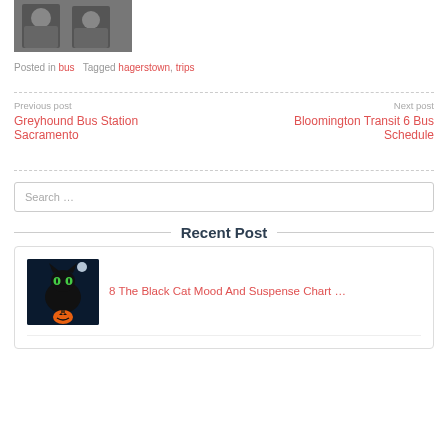[Figure (photo): Black and white photo of two people]
Posted in bus   Tagged hagerstown, trips
Previous post
Greyhound Bus Station Sacramento
Next post
Bloomington Transit 6 Bus Schedule
Search …
Recent Post
[Figure (photo): Dark blue image of a black cat with glowing green eyes and a Halloween pumpkin]
8 The Black Cat Mood And Suspense Chart …